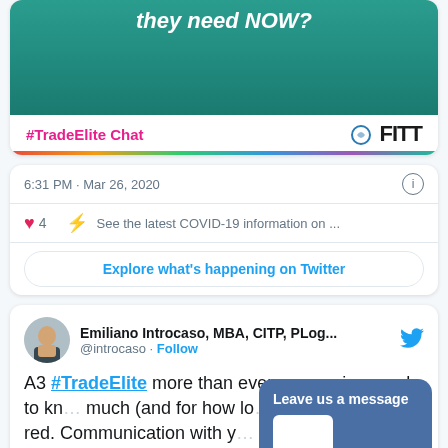[Figure (screenshot): Twitter/FITT banner image showing '#TradeElite Chat' hashtag and FITT logo on teal background with cloud design and rainbow color bar]
6:31 PM · Mar 26, 2020
4  See the latest COVID-19 information on ...
Explore what's happening on Twitter
Emiliano Introcaso, MBA, CITP, PLog...
@introcaso · Follow
A3 #TradeElite more than ever companies need to kn... much (and for how lo... going to be in the red. Communication with y... commercial bank is key, and they
[Figure (other): Leave us a message overlay button]